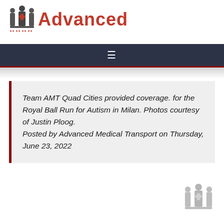Advanced Medical Transport
[Figure (logo): Advanced Medical Transport logo with stylized figures and red cross icon beside the word 'Advanced' in red bold text]
Team AMT Quad Cities provided coverage. for the Royal Ball Run for Autism in Milan. Photos courtesy of Justin Ploog. Posted by Advanced Medical Transport on Thursday, June 23, 2022